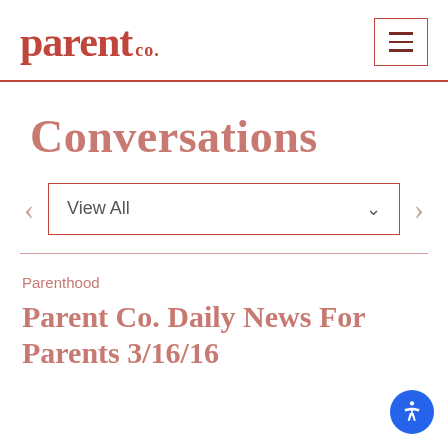[Figure (logo): Parent Co. logo in red serif font with 'parent' large and 'co.' smaller]
[Figure (other): Hamburger menu button with three horizontal lines inside a bordered box]
Conversations
View All
Parenthood
Parent Co. Daily News For Parents 3/16/16